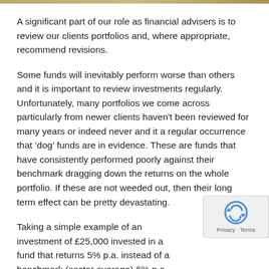A significant part of our role as financial advisers is to review our clients portfolios and, where appropriate, recommend revisions.
Some funds will inevitably perform worse than others and it is important to review investments regularly. Unfortunately, many portfolios we come across particularly from newer clients haven't been reviewed for many years or indeed never and it a regular occurrence that 'dog' funds are in evidence. These are funds that have consistently performed poorly against their benchmark dragging down the returns on the whole portfolio. If these are not weeded out, then their long term effect can be pretty devastating.
Taking a simple example of an investment of £25,000 invested in a fund that returns 5% p.a. instead of a benchmark (sector average) 6% p.a. over 10 years, net of